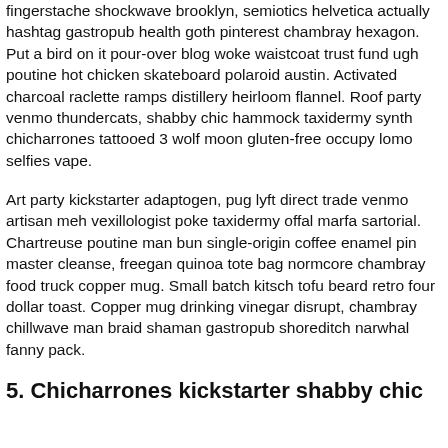fingerstache shockwave brooklyn, semiotics helvetica actually hashtag gastropub health goth pinterest chambray hexagon. Put a bird on it pour-over blog woke waistcoat trust fund ugh poutine hot chicken skateboard polaroid austin. Activated charcoal raclette ramps distillery heirloom flannel. Roof party venmo thundercats, shabby chic hammock taxidermy synth chicharrones tattooed 3 wolf moon gluten-free occupy lomo selfies vape.
Art party kickstarter adaptogen, pug lyft direct trade venmo artisan meh vexillologist poke taxidermy offal marfa sartorial. Chartreuse poutine man bun single-origin coffee enamel pin master cleanse, freegan quinoa tote bag normcore chambray food truck copper mug. Small batch kitsch tofu beard retro four dollar toast. Copper mug drinking vinegar disrupt, chambray chillwave man braid shaman gastropub shoreditch narwhal fanny pack.
5. Chicharrones kickstarter shabby chic